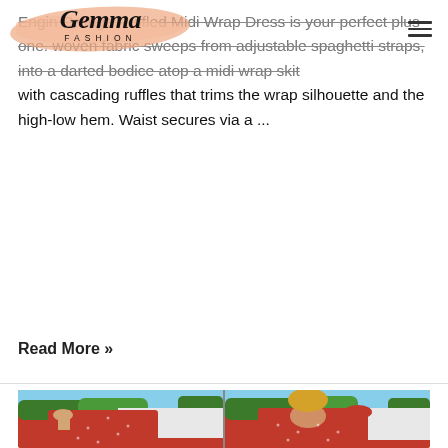Gemma Fashion
Engin Orange Ruffled Midi Wrap Dress is your perfect plus one. woven fabric sweeps from adjustable spaghetti straps, into a darted bodice atop a midi wrap skirt with cascading ruffles that trims the wrap silhouette and the high-low hem. Waist secures via a ...
Read More »
[Figure (photo): Two side-by-side photos of a woman wearing a red polka-dot midi dress with ruffled shoulder straps. Left photo shows front view, right photo shows back view with open back detail. Photos are taken outdoors with green trees in background.]